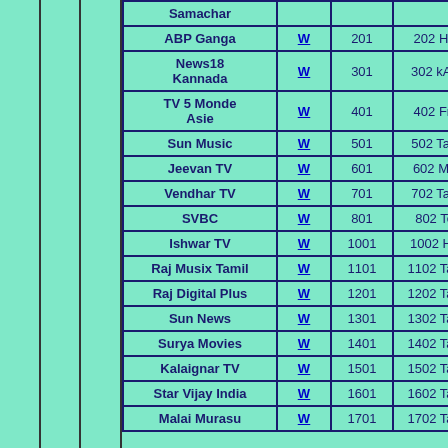| Channel | W | Num1 | Num2 |
| --- | --- | --- | --- |
| Samachar | W |  |  |
| ABP Ganga | W | 201 | 202 Hin |
| News18 Kannada | W | 301 | 302 kAN |
| TV 5 Monde Asie | W | 401 | 402 Fre |
| Sun Music | W | 501 | 502 Tam |
| Jeevan TV | W | 601 | 602 Mal |
| Vendhar TV | W | 701 | 702 Tam |
| SVBC | W | 801 | 802 Tel |
| Ishwar TV | W | 1001 | 1002 Hin |
| Raj Musix Tamil | W | 1101 | 1102 Tam |
| Raj Digital Plus | W | 1201 | 1202 Tam |
| Sun News | W | 1301 | 1302 Tam |
| Surya Movies | W | 1401 | 1402 Tam |
| Kalaignar TV | W | 1501 | 1502 Tam |
| Star Vijay India | W | 1601 | 1602 Tam |
| Malai Murasu | W | 1701 | 1702 Tam |